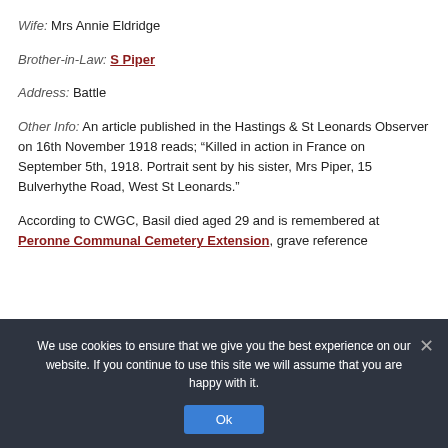Wife: Mrs Annie Eldridge
Brother-in-Law: S Piper
Address: Battle
Other Info: An article published in the Hastings & St Leonards Observer on 16th November 1918 reads; "Killed in action in France on September 5th, 1918. Portrait sent by his sister, Mrs Piper, 15 Bulverhythe Road, West St Leonards."
According to CWGC, Basil died aged 29 and is remembered at Peronne Communal Cemetery Extension, grave reference
We use cookies to ensure that we give you the best experience on our website. If you continue to use this site we will assume that you are happy with it.